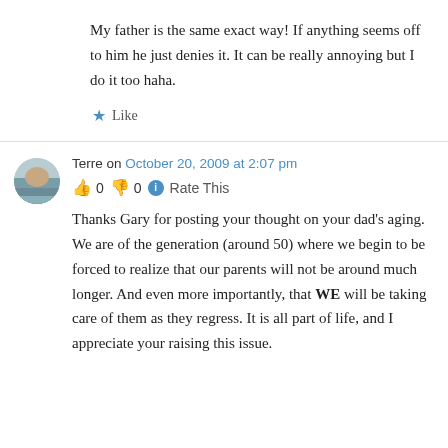My father is the same exact way! If anything seems off to him he just denies it. It can be really annoying but I do it too haha.
★ Like
Terre on October 20, 2009 at 2:07 pm
👍 0 👎 0 ℹ Rate This
Thanks Gary for posting your thought on your dad's aging. We are of the generation (around 50) where we begin to be forced to realize that our parents will not be around much longer. And even more importantly, that WE will be taking care of them as they regress. It is all part of life, and I appreciate your raising this issue.